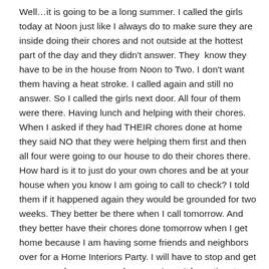Well…it is going to be a long summer. I called the girls today at Noon just like I always do to make sure they are inside doing their chores and not outside at the hottest part of the day and they didn't answer. They  know they have to be in the house from Noon to Two. I don't want them having a heat stroke. I called again and still no answer. So I called the girls next door. All four of them were there. Having lunch and helping with their chores. When I asked if they had THEIR chores done at home they said NO that they were helping them first and then all four were going to our house to do their chores there. How hard is it to just do your own chores and be at your house when you know I am going to call to check? I told them if it happened again they would be grounded for two weeks. They better be there when I call tomorrow. And they better have their chores done tomorrow when I get home because I am having some friends and neighbors over for a Home Interiors Party. I will have to stop and get some snacks on my way home so I won't have time to tidy up before the party. Hubby has his Union Meetings on Wednesday so that is the best night for me. I am hoping to sell enough to earn those white wicker sconces that I have had my eyes on for a while. Maybe even the gold candle cups